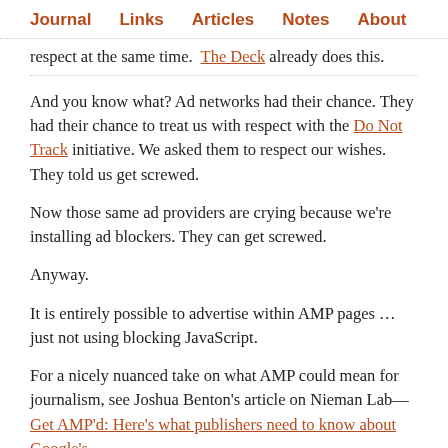Journal   Links   Articles   Notes   About
respect at the same time. The Deck already does this.
And you know what? Ad networks had their chance. They had their chance to treat us with respect with the Do Not Track initiative. We asked them to respect our wishes. They told us get screwed.
Now those same ad providers are crying because we're installing ad blockers. They can get screwed.
Anyway.
It is entirely possible to advertise within AMP pages …just not using blocking JavaScript.
For a nicely nuanced take on what AMP could mean for journalism, see Joshua Benton's article on Nieman Lab—Get AMP'd: Here's what publishers need to know about Google's